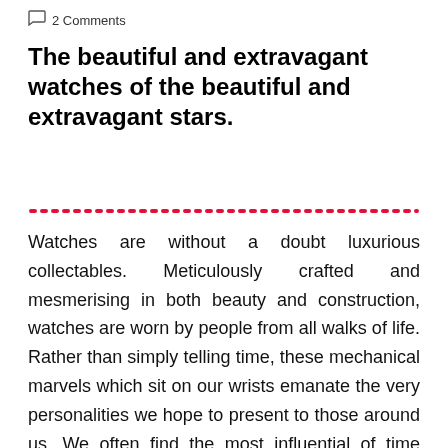2 Comments
The beautiful and extravagant watches of the beautiful and extravagant stars.
Watches are without a doubt luxurious collectables. Meticulously crafted and mesmerising in both beauty and construction, watches are worn by people from all walks of life. Rather than simply telling time, these mechanical marvels which sit on our wrists emanate the very personalities we hope to present to those around us. We often find the most influential of time pieces in the possessions of those we look up to